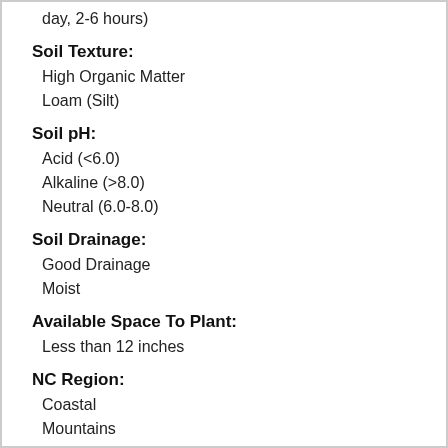day, 2-6 hours)
Soil Texture:
High Organic Matter
Loam (Silt)
Soil pH:
Acid (<6.0)
Alkaline (>8.0)
Neutral (6.0-8.0)
Soil Drainage:
Good Drainage
Moist
Available Space To Plant:
Less than 12 inches
NC Region:
Coastal
Mountains